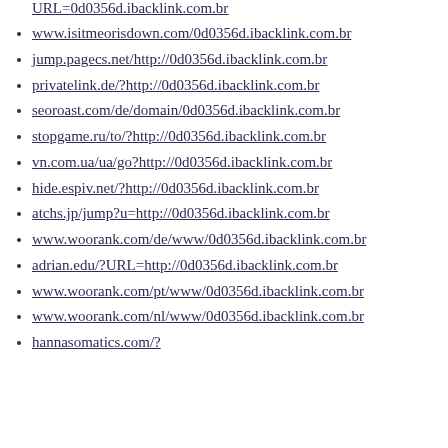URL=0d0356d.ibacklink.com.br
www.isitmeorisdown.com/0d0356d.ibacklink.com.br
jump.pagecs.net/http://0d0356d.ibacklink.com.br
privatelink.de/?http://0d0356d.ibacklink.com.br
seoroast.com/de/domain/0d0356d.ibacklink.com.br
stopgame.ru/to/?http://0d0356d.ibacklink.com.br
vn.com.ua/ua/go?http://0d0356d.ibacklink.com.br
hide.espiv.net/?http://0d0356d.ibacklink.com.br
atchs.jp/jump?u=http://0d0356d.ibacklink.com.br
www.woorank.com/de/www/0d0356d.ibacklink.com.br
adrian.edu/?URL=http://0d0356d.ibacklink.com.br
www.woorank.com/pt/www/0d0356d.ibacklink.com.br
www.woorank.com/nl/www/0d0356d.ibacklink.com.br
hannasomatics.com/?